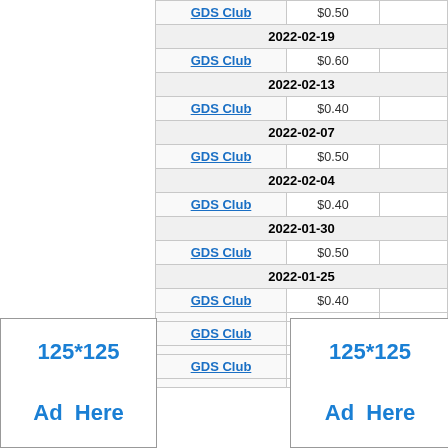| Source | Price |  |
| --- | --- | --- |
| GDS Club | $0.50 |  |
| 2022-02-19 |  |  |
| GDS Club | $0.60 |  |
| 2022-02-13 |  |  |
| GDS Club | $0.40 |  |
| 2022-02-07 |  |  |
| GDS Club | $0.50 |  |
| 2022-02-04 |  |  |
| GDS Club | $0.40 |  |
| 2022-01-30 |  |  |
| GDS Club | $0.50 |  |
| 2022-01-25 |  |  |
| GDS Club | $0.40 |  |
|  |  |  |
| GDS Club |  |  |
|  |  |  |
| GDS Club |  |  |
[Figure (other): 125*125 Ad Here placeholder box, left side]
[Figure (other): 125*125 Ad Here placeholder box, right side]